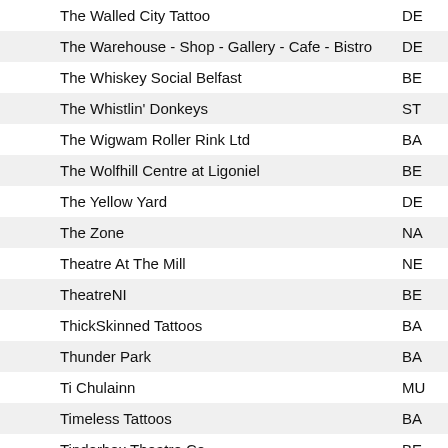|  | Name | Code |
| --- | --- | --- |
|  | The Walled City Tattoo | DE |
|  | The Warehouse - Shop - Gallery - Cafe - Bistro | DE |
|  | The Whiskey Social Belfast | BE |
|  | The Whistlin' Donkeys | ST |
|  | The Wigwam Roller Rink Ltd | BA |
|  | The Wolfhill Centre at Ligoniel | BE |
|  | The Yellow Yard | DE |
|  | The Zone | NA |
|  | Theatre At The Mill | NE |
|  | TheatreNI | BE |
|  | ThickSkinned Tattoos | BA |
|  | Thunder Park | BA |
|  | Ti Chulainn | MU |
|  | Timeless Tattoos | BA |
|  | Tinderbox Theatre Co | BE |
| i | Tiny Life | BE |
|  | TitanCon Belfast | BE |
|  | Titanic Belfast | BE |